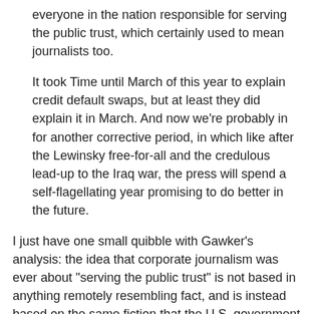everyone in the nation responsible for serving the public trust, which certainly used to mean journalists too.
It took Time until March of this year to explain credit default swaps, but at least they did explain it in March. And now we're probably in for another corrective period, in which like after the Lewinsky free-for-all and the credulous lead-up to the Iraq war, the press will spend a self-flagellating year promising to do better in the future.
I just have one small quibble with Gawker's analysis: the idea that corporate journalism was ever about "serving the public trust" is not based in anything remotely resembling fact, and is instead based on the same fiction that the U.S. government -- which massacred the native American population and enslaved hundreds of thousands of others -- was established to uphold decency and justice but has only rather recently been corrupted by the mean 'ol Republicans. While the media's selling of the war in Iraq was undoubtedly